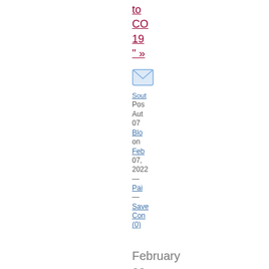to
CO
19
" »
[Figure (illustration): Envelope icon (email/newsletter icon) in light blue]
Sout
Pos
Aut
07
Blo
on
Feb
07,
2022
—
Pai
—
Save
Com
(0)
February 02, 2022
St
Ph
Pr
fo